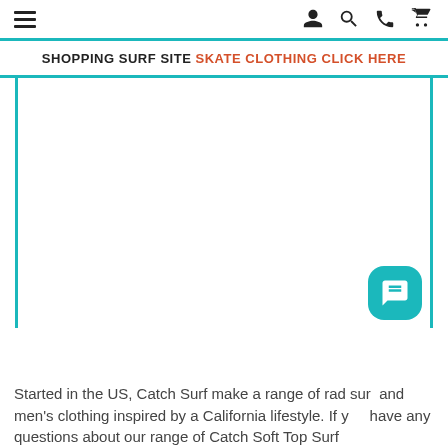SHOPPING SURF SITE  SKATE CLOTHING CLICK HERE
[Figure (screenshot): Large blank white image area with teal left and right borders, representing an embedded product image placeholder]
Started in the US, Catch Surf make a range of rad surf and men's clothing inspired by a California lifestyle. If you have any questions about our range of Catch Soft Top Surf